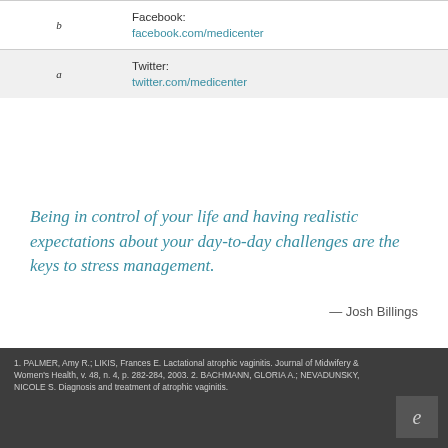|  |  |
| --- | --- |
| b | Facebook:
facebook.com/medicenter |
| a | Twitter:
twitter.com/medicenter |
Being in control of your life and having realistic expectations about your day-to-day challenges are the keys to stress management.
— Josh Billings
1. PALMER, Amy R.; LIKIS, Frances E. Lactational atrophic vaginitis. Journal of Midwifery & Women's Health, v. 48, n. 4, p. 282-284, 2003. 2. BACHMANN, GLORIA A.; NEVADUNSKY, NICOLE S. Diagnosis and treatment of atrophic vaginitis.